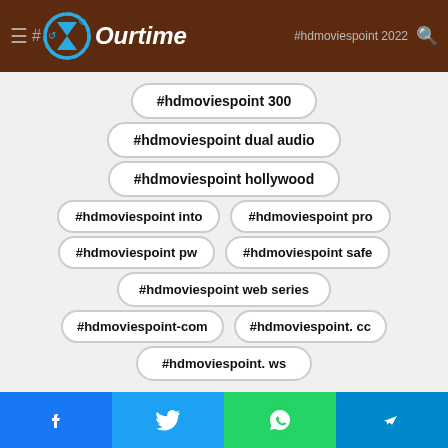Ourtime — #hdmoviespoint 2022
#hdmoviespoint 300
#hdmoviespoint dual audio
#hdmoviespoint hollywood
#hdmoviespoint into
#hdmoviespoint pro
#hdmoviespoint pw
#hdmoviespoint safe
#hdmoviespoint web series
#hdmoviespoint-com
#hdmoviespoint. cc
#hdmoviespoint. ws
Facebook | Twitter | WhatsApp | Telegram